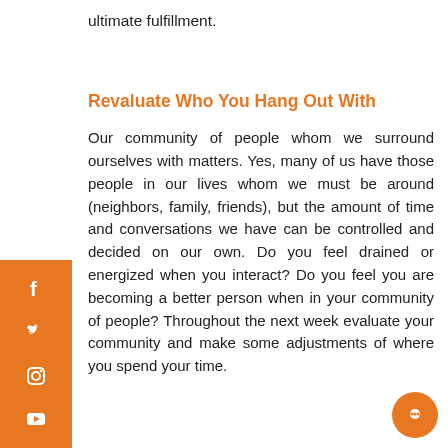ultimate fulfillment.
Revaluate Who You Hang Out With
Our community of people whom we surround ourselves with matters. Yes, many of us have those people in our lives whom we must be around (neighbors, family, friends), but the amount of time and conversations we have can be controlled and decided on our own. Do you feel drained or energized when you interact? Do you feel you are becoming a better person when in your community of people? Throughout the next week evaluate your community and make some adjustments of where you spend your time.